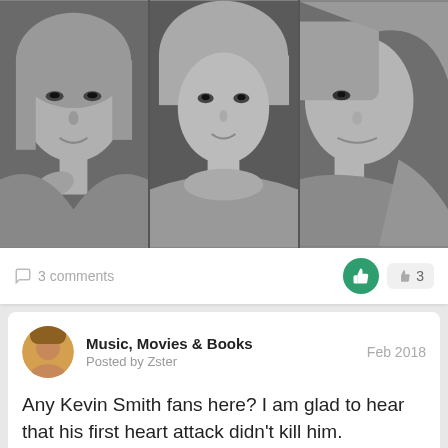[Figure (photo): Three grayscale artistic face portraits side by side]
3 comments
3
Music, Movies & Books
Posted by Zster
Feb 2018
Any Kevin Smith fans here? I am glad to hear that his first heart attack didn't kill him.
10 comments
6
General & Hellos
Posted by LordOtto
Feb 2018